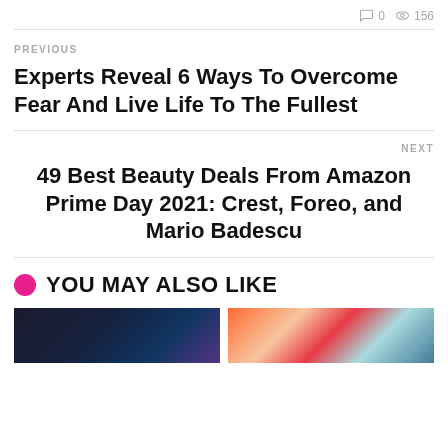0  156
PREVIOUS
Experts Reveal 6 Ways To Overcome Fear And Live Life To The Fullest
NEXT
49 Best Beauty Deals From Amazon Prime Day 2021: Crest, Foreo, and Mario Badescu
YOU MAY ALSO LIKE
[Figure (photo): Two thumbnail images at the bottom of the page - left shows a dark blue/purple toned image, right shows a colorful orange/red/blue toned image]